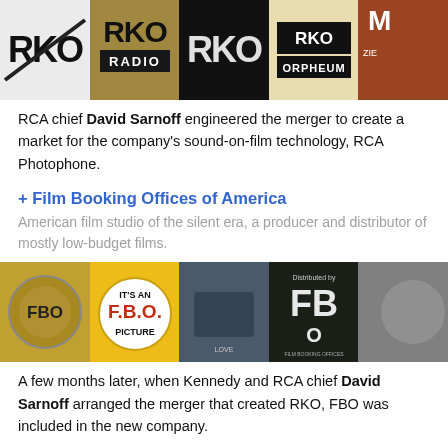[Figure (photo): Strip of 5 RKO-related historical logos and images across top of page]
RCA chief David Sarnoff engineered the merger to create a market for the company's sound-on-film technology, RCA Photophone.
+ Film Booking Offices of America
American film studio of the silent era, a producer and distributor of mostly low-budget films.
[Figure (photo): Strip of 5 FBO (Film Booking Offices of America) related historical images]
A few months later, when Kennedy and RCA chief David Sarnoff arranged the merger that created RKO, FBO was included in the new company.